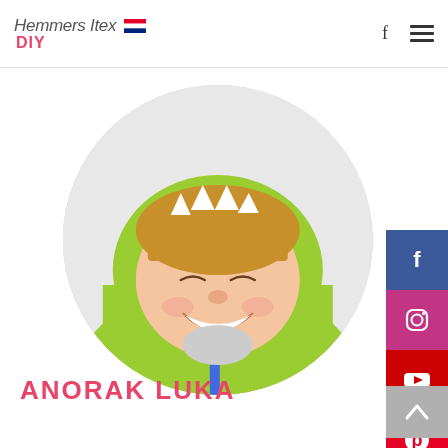Hemmers Itex DIY
[Figure (photo): Child wearing a green dinosaur hoodie jacket with white spike details on the hood, laughing, displayed in a circular crop]
ANORAK LUKA